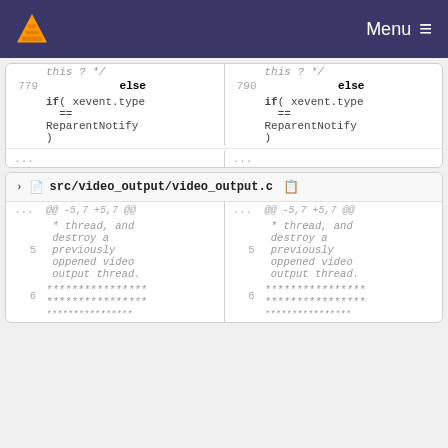VLC media player — Menu
Code diff showing line 779/790: else if( xevent.type == ReparentNotify )
src/video_output/video_output.c
Diff hunk @@ -5,7 +5,7 @@ lines 5-6: * thread, and destroy a previously oppened video output thread. **************** ****************